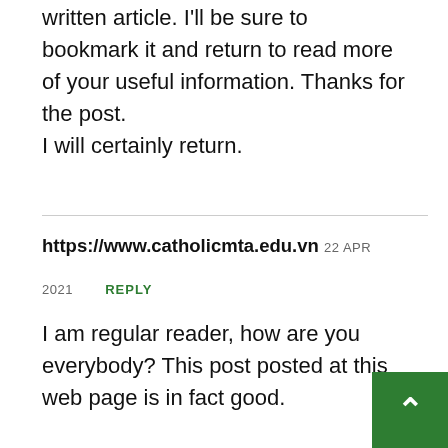written article. I'll be sure to bookmark it and return to read more of your useful information. Thanks for the post. I will certainly return.
https://www.catholicmta.edu.vn 22 APR 2021  REPLY
I am regular reader, how are you everybody? This post posted at this web page is in fact good.